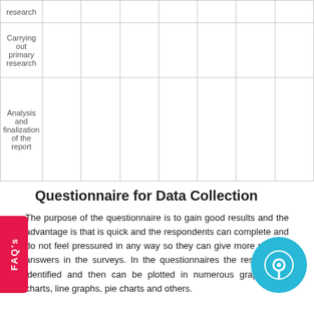|  |  |  |  |  |  |  |  |
| --- | --- | --- | --- | --- | --- | --- | --- |
| research |  |  |  |  |  |  |  |
| Carrying out primary research |  |  |  |  |  |  |  |
| Analysis and finalization of the report |  |  |  |  |  |  |  |
Questionnaire for Data Collection
The purpose of the questionnaire is to gain good results and the advantage is that is quick and the respondents can complete and do not feel pressured in any way so they can give more realistic answers in the surveys. In the questionnaires the results only identified and then can be plotted in numerous graphs, bar charts, line graphs, pie charts and others.